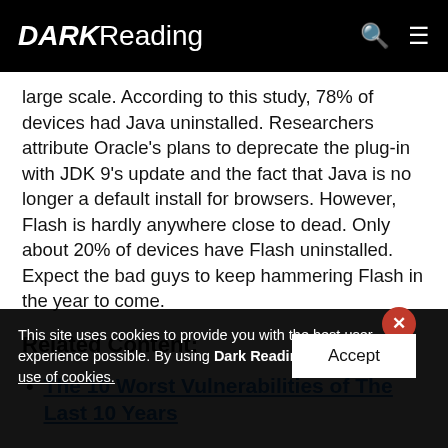DARK Reading
large scale. According to this study, 78% of devices had Java uninstalled. Researchers attribute Oracle's plans to deprecate the plug-in with JDK 9's update and the fact that Java is no longer a default install for browsers. However, Flash is hardly anywhere close to dead. Only about 20% of devices have Flash uninstalled. Expect the bad guys to keep hammering Flash in the year to come.
Related Content:
The 10 Worst Vulnerabilities of The Last 10 Years
This site uses cookies to provide you with the best user experience possible. By using Dark Reading, you accept our use of cookies.